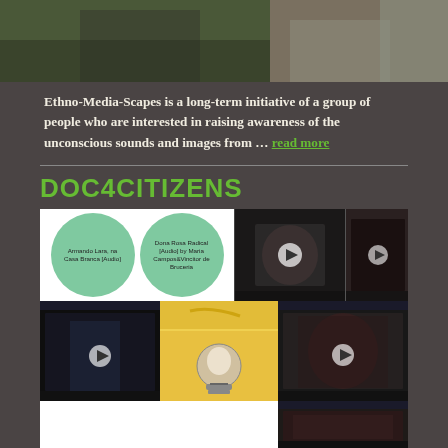[Figure (photo): Top portion of a photo showing people outdoors, partially cropped]
Ethno-Media-Scapes is a long-term initiative of a group of people who are interested in raising awareness of the unconscious sounds and images from … read more
DOC4CITIZENS
[Figure (infographic): Gallery grid showing two green circles with audio labels (Armando Lara, na Casa Branca [Audio] and Dona Rosa Radical [Audio] by Maria Campos&Vincitor de Bruceria), video thumbnails of an elderly man, a dark scene, a woman speaking, a lightbulb photo, and additional video thumbnails]